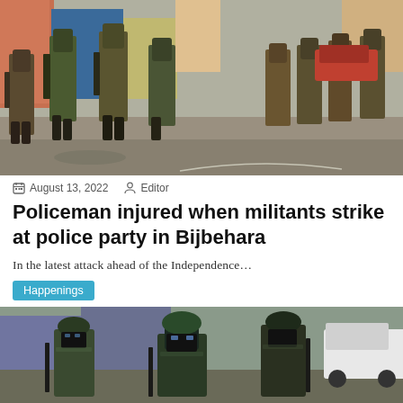[Figure (photo): Military/police personnel in camouflage walking down a street with weapons, colorful buildings in background]
August 13, 2022   Editor
Policeman injured when militants strike at police party in Bijbehara
In the latest attack ahead of the Independence…
Happenings
[Figure (photo): Armed soldiers in black tactical gear and masks standing near a vehicle]